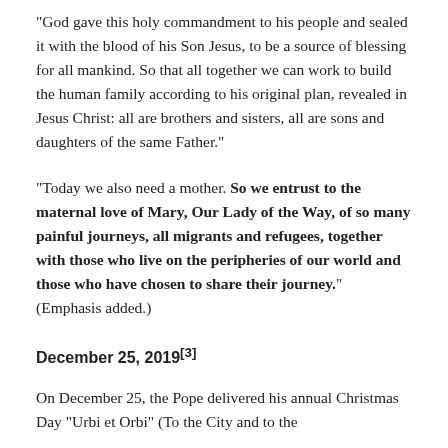“God gave this holy commandment to his people and sealed it with the blood of his Son Jesus, to be a source of blessing for all mankind. So that all together we can work to build the human family according to his original plan, revealed in Jesus Christ: all are brothers and sisters, all are sons and daughters of the same Father.”
“Today we also need a mother. So we entrust to the maternal love of Mary, Our Lady of the Way, of so many painful journeys, all migrants and refugees, together with those who live on the peripheries of our world and those who have chosen to share their journey.” (Emphasis added.)
December 25, 2019[3]
On December 25, the Pope delivered his annual Christmas Day “Urbi et Orbi” (To the City and to the